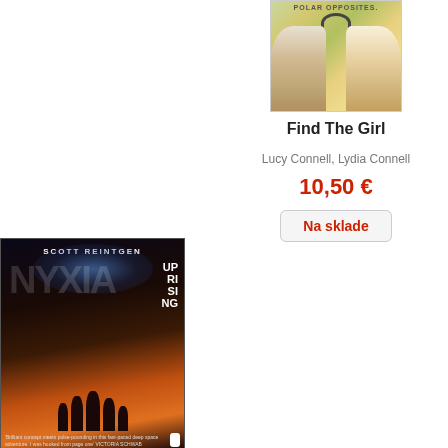[Figure (photo): Book cover for 'Find The Girl' showing two faces (polar opposites) with headphones, colorful illustrated style]
Find The Girl
Lucy Connell, Lydia Connell
10,50 €
Na sklade
[Figure (photo): Book cover for 'Nyxia Uprising' by Scott Reintgen, showing dark sci-fi cover with silhouettes and planet, Penguin publisher]